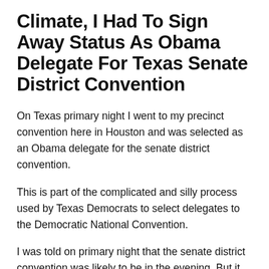Climate, I Had To Sign Away Status As Obama Delegate For Texas Senate District Convention
On Texas primary night I went to my precinct convention here in Houston and was selected as an Obama delegate for the senate district convention.
This is part of the complicated and silly process used by Texas Democrats to select delegates to the Democratic National Convention.
I was told on primary night that the senate district convention was likely to be in the evening. But it turned out to be in the morning and I must work in the morning.